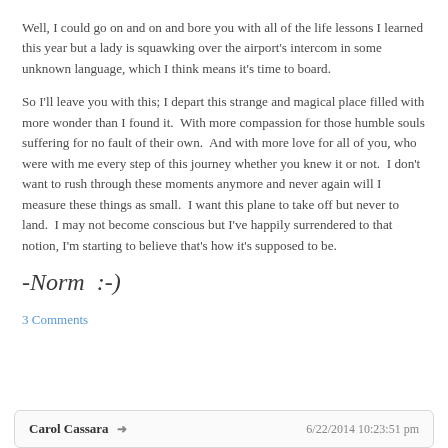Well, I could go on and on and bore you with all of the life lessons I learned this year but a lady is squawking over the airport's intercom in some unknown language, which I think means it's time to board.
So I'll leave you with this; I depart this strange and magical place filled with more wonder than I found it.  With more compassion for those humble souls suffering for no fault of their own.  And with more love for all of you, who were with me every step of this journey whether you knew it or not.  I don't want to rush through these moments anymore and never again will I measure these things as small.  I want this plane to take off but never to land.  I may not become conscious but I've happily surrendered to that notion, I'm starting to believe that's how it's supposed to be.
-Norm  :-)
3 Comments
Carol Cassara →
6/22/2014 10:23:51 pm